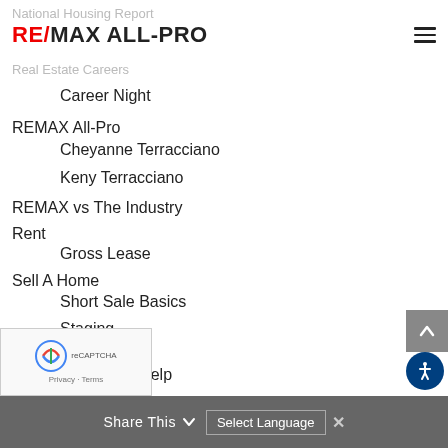National Housing Report
RE/MAX ALL-PRO
Real Estate Careers
Career Night
REMAX All-Pro
Cheyanne Terracciano
Keny Terracciano
REMAX vs The Industry
Rent
Gross Lease
Sell A Home
Short Sale Basics
Staging
Short Sales
Short Sale Help
ategorized
Share This   Select Language